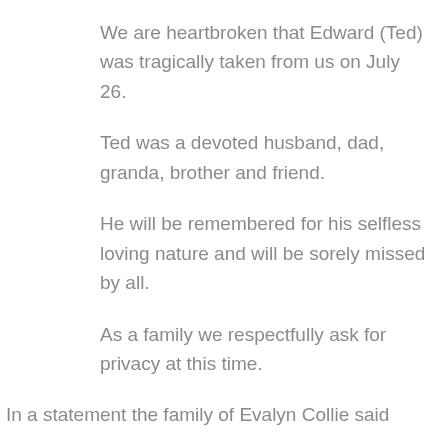We are heartbroken that Edward (Ted) was tragically taken from us on July 26.
Ted was a devoted husband, dad, granda, brother and friend.
He will be remembered for his selfless loving nature and will be sorely missed by all.
As a family we respectfully ask for privacy at this time.
In a statement the family of Evalyn Collie said
The family would like to thank the emergency services, members of the public and the others